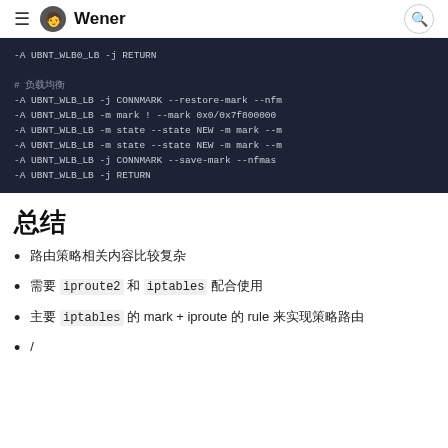Wener
[Figure (screenshot): Dark-themed code block showing iptables rules: -A UBNT_WLB0_LB -j RETURN, # comment in Chinese, -A UBNT_WLB_LB -j CONNMARK --restore-mark --nfm..., -A UBNT_WLB_LB -m mark ! --mark 0x0/0x7f800000..., -A UBNT_WLB_LB -m state --state NEW -m mark --m..., -A UBNT_WLB_LB -m state --state NEW -m mark --m..., -A UBNT_WLB_LB -j CONNMARK --save-mark --nfmas..., -A UBNT_WLB_LB -j RETURN]
总结
路由策略相关内容比较复杂
需要 iproute2 和 iptables 配合使用
主要 iptables 的 mark + iproute 的 rule 来实现策略路由
/